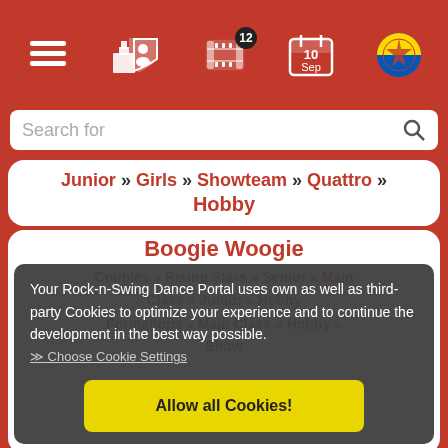Navigation bar with icons: news/list, people-institution, film (badge:12), calendar (10 Sep), logo
Search for
Junior » Girls » Showteam » Quattro » Hobby
Boogie Woogie
Couples » Rising Stars » Senior » Main Class » Junior » Hobby
Formations » Main Class » Hobby » Show
Your Rock-n-Swing Dance Portal uses own as well as third-party Cookies to optimize your experience and to continue the development in the best way possible.
≫ Choose Cookie Settings
Allow all Cookies!
Pages   About Rock-n-Swing.com   [social icons]